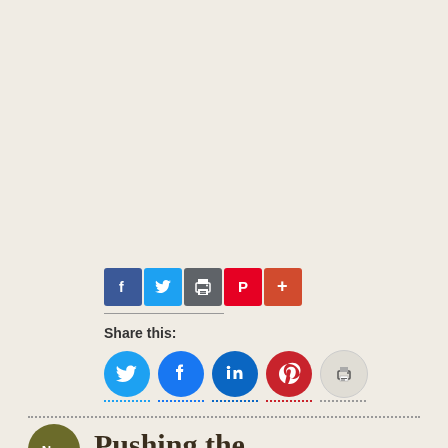[Figure (other): Social share buttons row: Facebook (blue square), Twitter (light blue square), Print (grey square), Pinterest (red square), More (orange-red square with plus icon)]
Share this:
[Figure (other): Round social share buttons: Twitter (blue), Facebook (blue), LinkedIn (dark blue), Pinterest (red), Print (grey/white)]
Pushing the